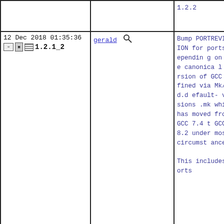| Date/Version | Committer | Log |
| --- | --- | --- |
|  |  | 1.2.2 |
| 12 Dec 2018 01:35:36
[icons] 1.2.1_2 | gerald [search] | Bump PORTREVISION for ports depending on the canonical version of GCC defined via Mk/bsd.default-versions.mk which has moved from GCC 7.4 t GCC 8.2 under most circumstances.

This includes ports |